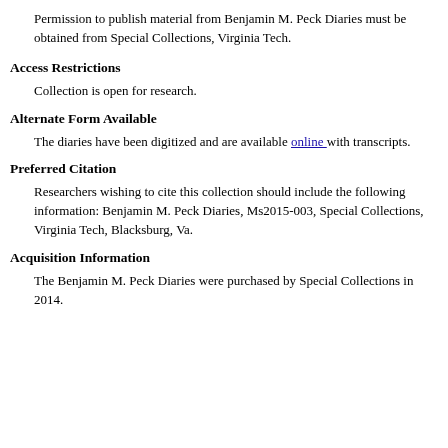Permission to publish material from Benjamin M. Peck Diaries must be obtained from Special Collections, Virginia Tech.
Access Restrictions
Collection is open for research.
Alternate Form Available
The diaries have been digitized and are available online with transcripts.
Preferred Citation
Researchers wishing to cite this collection should include the following information: Benjamin M. Peck Diaries, Ms2015-003, Special Collections, Virginia Tech, Blacksburg, Va.
Acquisition Information
The Benjamin M. Peck Diaries were purchased by Special Collections in 2014.